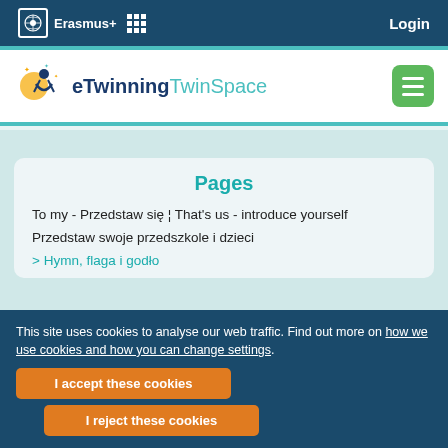Erasmus+ Login
[Figure (logo): eTwinning TwinSpace logo with stylized figures and stars, with hamburger menu button]
Pages
To my - Przedstaw się ¦ That's us - introduce yourself
Przedstaw swoje przedszkole i dzieci
> Hymn, flaga i godło
This site uses cookies to analyse our web traffic. Find out more on how we use cookies and how you can change settings.
I accept these cookies
I reject these cookies